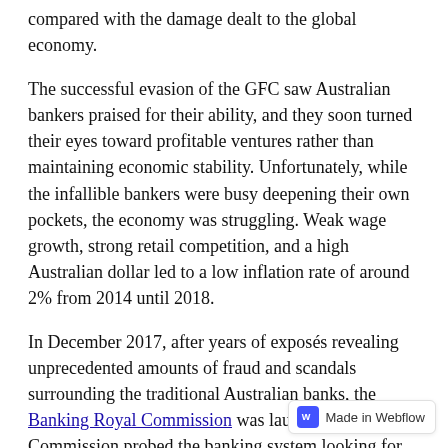compared with the damage dealt to the global economy.
The successful evasion of the GFC saw Australian bankers praised for their ability, and they soon turned their eyes toward profitable ventures rather than maintaining economic stability. Unfortunately, while the infallible bankers were busy deepening their own pockets, the economy was struggling. Weak wage growth, strong retail competition, and a high Australian dollar led to a low inflation rate of around 2% from 2014 until 2018.
In December 2017, after years of exposés revealing unprecedented amounts of fraud and scandals surrounding the traditional Australian banks, the Banking Royal Commission was launched. The Commission probed the banking system looking for any further misconduct and uncovered an unorthodox, profit-driven culture within the industry. Customers had lined bankers' pockets with hundreds of dollars because the banks pushed financial